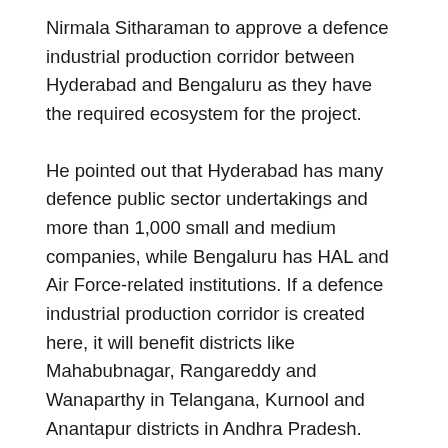Nirmala Sitharaman to approve a defence industrial production corridor between Hyderabad and Bengaluru as they have the required ecosystem for the project.
He pointed out that Hyderabad has many defence public sector undertakings and more than 1,000 small and medium companies, while Bengaluru has HAL and Air Force-related institutions. If a defence industrial production corridor is created here, it will benefit districts like Mahabubnagar, Rangareddy and Wanaparthy in Telangana, Kurnool and Anantapur districts in Andhra Pradesh.